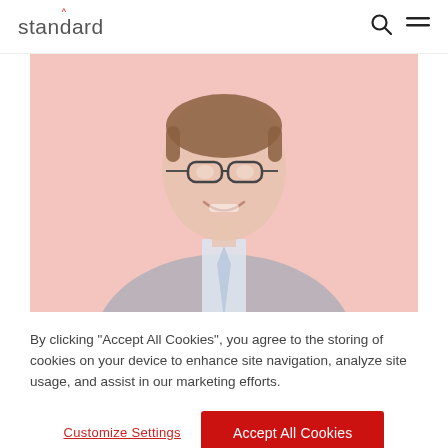standard
[Figure (photo): A smiling man wearing glasses and a grey suit with a light blue tie, photographed against a pink/salmon background. Portrait style photo cropped to chest level.]
By clicking "Accept All Cookies", you agree to the storing of cookies on your device to enhance site navigation, analyze site usage, and assist in our marketing efforts.
Customize Settings
Accept All Cookies